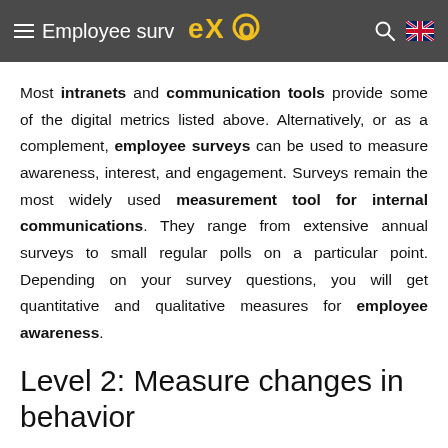Employee surv… eXo [logo]
Most intranets and communication tools provide some of the digital metrics listed above. Alternatively, or as a complement, employee surveys can be used to measure awareness, interest, and engagement. Surveys remain the most widely used measurement tool for internal communications. They range from extensive annual surveys to small regular polls on a particular point. Depending on your survey questions, you will get quantitative and qualitative measures for employee awareness.
Level 2: Measure changes in behavior